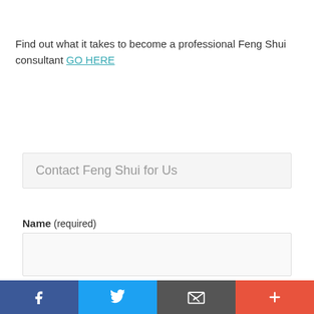Find out what it takes to become a professional Feng Shui consultant GO HERE
Contact Feng Shui for Us
Name (required)
Email (required)